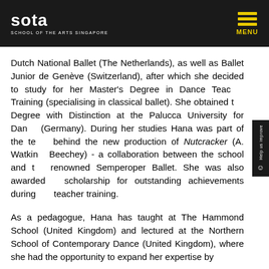SOTA - SCHOOL OF THE ARTS SINGAPORE | MENU
Dutch National Ballet (The Netherlands), as well as Ballet Junior de Genève (Switzerland), after which she decided to study for her Master's Degree in Dance Teacher Training (specialising in classical ballet). She obtained the Degree with Distinction at the Palucca University for Dance (Germany). During her studies Hana was part of the team behind the new production of Nutcracker (A. Watkins, Beechey) - a collaboration between the school and the renowned Semperoper Ballet. She was also awarded a scholarship for outstanding achievements during her teacher training.
As a pedagogue, Hana has taught at The Hammond School (United Kingdom) and lectured at the Northern School of Contemporary Dance (United Kingdom), where she had the opportunity to expand her expertise by